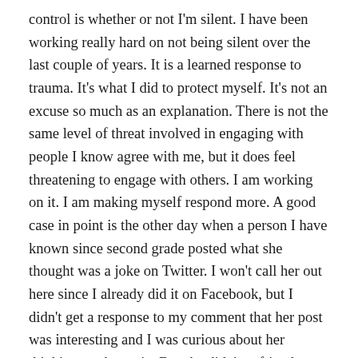control is whether or not I'm silent. I have been working really hard on not being silent over the last couple of years. It is a learned response to trauma. It's what I did to protect myself. It's not an excuse so much as an explanation. There is not the same level of threat involved in engaging with people I know agree with me, but it does feel threatening to engage with others. I am working on it. I am making myself respond more. A good case in point is the other day when a person I have known since second grade posted what she thought was a joke on Twitter. I won't call her out here since I already did it on Facebook, but I didn't get a response to my comment that her post was interesting and I was curious about her thinking on the topic. But she didn't unfriend me, so that's a start, I suppose. A year ago, I probably wouldn't have engaged at all. I struggle to figure out how to engage, and the best advice I have received so far is to sound curious.